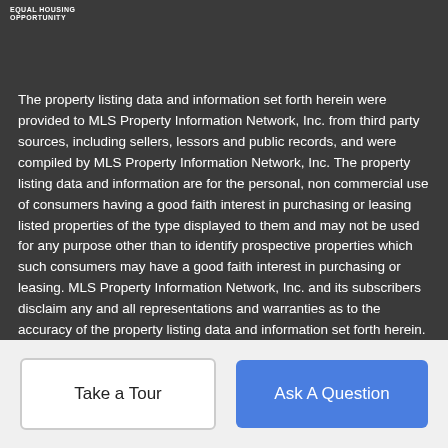EQUAL HOUSING OPPORTUNITY
The property listing data and information set forth herein were provided to MLS Property Information Network, Inc. from third party sources, including sellers, lessors and public records, and were compiled by MLS Property Information Network, Inc. The property listing data and information are for the personal, non commercial use of consumers having a good faith interest in purchasing or leasing listed properties of the type displayed to them and may not be used for any purpose other than to identify prospective properties which such consumers may have a good faith interest in purchasing or leasing. MLS Property Information Network, Inc. and its subscribers disclaim any and all representations and warranties as to the accuracy of the property listing data and information set forth herein. Data last updated 2022-09-03T00:05:58.923.
Take a Tour
Ask A Question